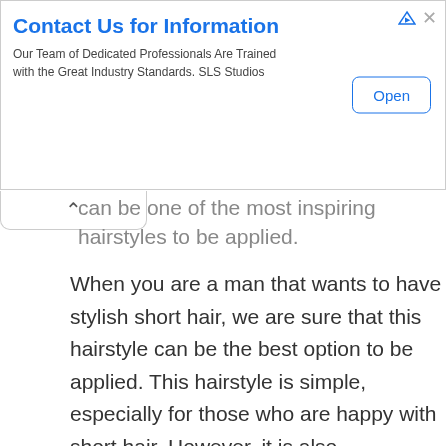[Figure (infographic): Advertisement banner for SLS Studios. Title: 'Contact Us for Information'. Subtitle: 'Our Team of Dedicated Professionals Are Trained with the Great Industry Standards. SLS Studios'. An 'Open' button is on the right side. Ad indicator icons (triangle and X) appear top-right.]
can be one of the most inspiring hairstyles to be applied.
When you are a man that wants to have stylish short hair, we are sure that this hairstyle can be the best option to be applied. This hairstyle is simple, especially for those who are happy with short hair. However, it is also fashionable, so the style can be appropriate for any conditions. That is why the Caesar Cut is also called a timeless hairstyle.